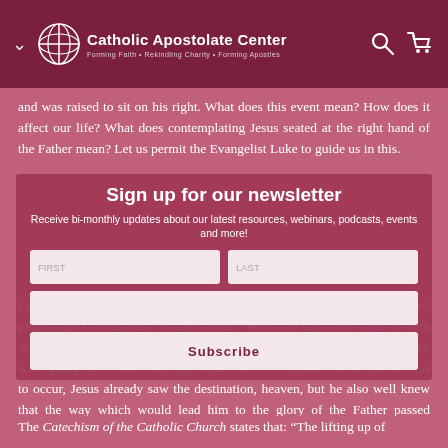Catholic Apostolate Center — Forming Faith • Rekindling Charity • Forming Apostles
and was raised to sit on his right. What does this event mean? How does it affect our life? What does contemplating Jesus seated at the right hand of the Father mean? Let us permit the Evangelist Luke to guide us in this.
Sign up for our newsletter
Receive bi-monthly updates about our latest resources, webinars, podcasts, events and more!
Let us start from the moment when Jesus decided to make his last pilgrimage to Jerusalem. St Luke notes: "When the days drew near for him to be received up, he set his face to go to Jerusalem" (Lk 9:51). While he was "going up" to the Holy City, where his own "exodus" from this life was to occur, Jesus already saw the destination, heaven, but he also well knew that the way which would lead him to the glory of the Father passed through the Cross, through obedience to the divine design of love for mankind.
The Catechism of the Catholic Church states that: "The lifting up of